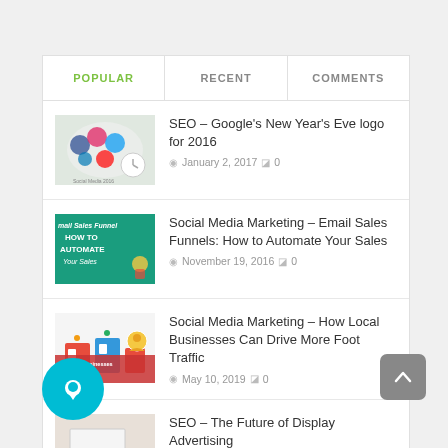POPULAR | RECENT | COMMENTS
SEO – Google's New Year's Eve logo for 2016
January 2, 2017  0
Social Media Marketing – Email Sales Funnels: How to Automate Your Sales
November 19, 2016  0
Social Media Marketing – How Local Businesses Can Drive More Foot Traffic
May 10, 2019  0
SEO – The Future of Display Advertising
May 14, 2019  0